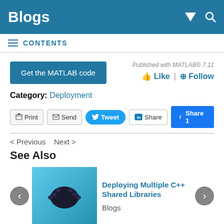Blogs
CONTENTS
Get the MATLAB code
Published with MATLAB® 7.11
👍 Like | ⊕ Follow
Category: Deployment
Print | Send | Tweet | Share | Share 1
< Previous   Next >
See Also
Deploying Multiple C++ Shared Libraries
Blogs